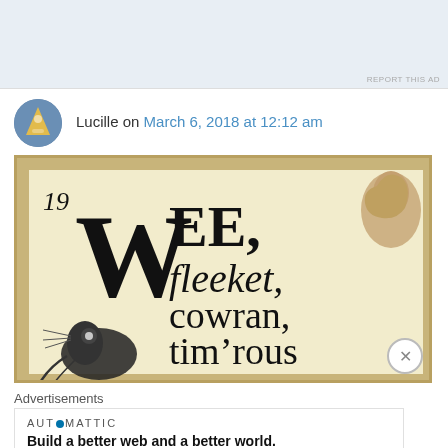[Figure (screenshot): Top advertisement area with light blue/grey background and 'REPORT THIS AD' text in small grey letters bottom right]
Lucille on March 6, 2018 at 12:12 am
[Figure (photo): A UK postage stamp showing '19' in top left, large decorative letter 'W', text reading 'EE, fleeket, cowran, tim'rous', a Queen's silhouette in top right, and an illustration of a mouse/rat at bottom left. Cream/ivory background with perforated edges.]
Advertisements
[Figure (logo): Automattic logo with circular dot replacing the 'O', with tagline 'Build a better web and a better world.']